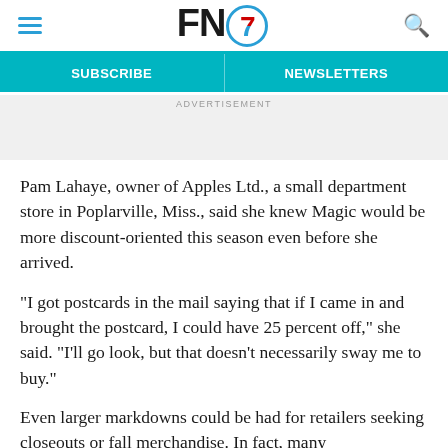FN7 — Subscribe | Newsletters
ADVERTISEMENT
Pam Lahaye, owner of Apples Ltd., a small department store in Poplarville, Miss., said she knew Magic would be more discount-oriented this season even before she arrived.
“I got postcards in the mail saying that if I came in and brought the postcard, I could have 25 percent off,” she said. “I’ll go look, but that doesn’t necessarily sway me to buy.”
Even larger markdowns could be had for retailers seeking closeouts or fall merchandise. In fact, many